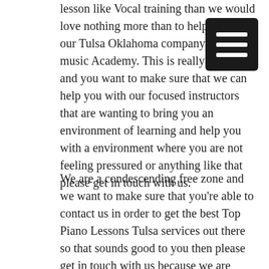[Figure (other): Dark square menu/hamburger button icon with three horizontal white lines, positioned top right]
lesson like Vocal training than we would love nothing more than to help you in our Tulsa Oklahoma company Curtis music Academy. This is really great you and you want to make sure that we can help you with our focused instructors that are wanting to bring you an environment of learning and help you with a environment where you are not feeling pressured or anything like that please get in touch with us.
We are a condescending free zone and we want to make sure that you're able to contact us in order to get the best Top Piano Lessons Tulsa services out there so that sounds good to you then please get in touch with us because we are focused on helping you today. If you want to make sure that we can help you do things correctly then please get in touch with us because we want to give you genuine encouragement and if you want to make sure that you are improving every single day then please get in touch with us because we know that we can provide you with the